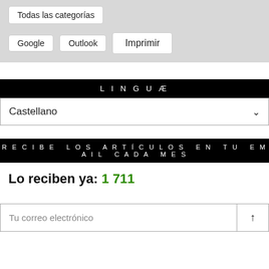Todas las categorías
Google  Outlook  Imprimir
LINGUÆ
Castellano
RECIBE LOS ARTÍCULOS EN TU EMAIL CADA MES
Lo reciben ya: 1 711
Tu correo electrónico